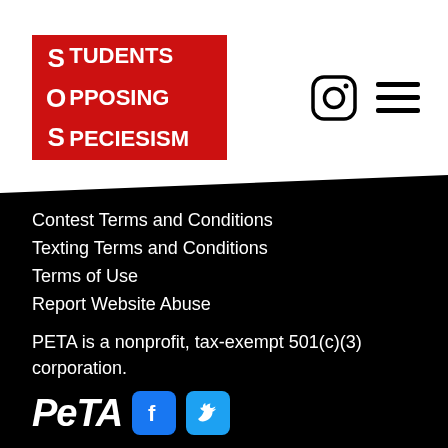[Figure (logo): Students Opposing Speciesism logo — red background with white bold text arranged in three lines: S TUDENTS / O PPOSING / S PECIESISM, with large S letters stacked on the left]
[Figure (other): Instagram icon (circle with square camera outline) and hamburger menu icon (three horizontal lines), top-right of header]
Contest Terms and Conditions
Texting Terms and Conditions
Terms of Use
Report Website Abuse
PETA is a nonprofit, tax-exempt 501(c)(3) corporation.
[Figure (logo): PETA wordmark in white italic bold font, followed by Facebook icon (blue rounded square with white f) and Twitter icon (blue rounded square with white bird)]
People for the Ethical Treatment of Animals 501 Front St., Norfolk, VA 23510 757-622-PETA (7382) | 757-622-0457 (fax)